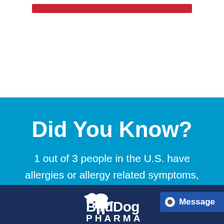[Figure (infographic): Red horizontal bar at the top of the page on white background]
Did You Know?
1 out of 3 people in the U.S. have allergies or allergy related symptoms, according to the CDC.
[Figure (logo): BirdDog Pharma logo with dog silhouette on dark navy background]
Message